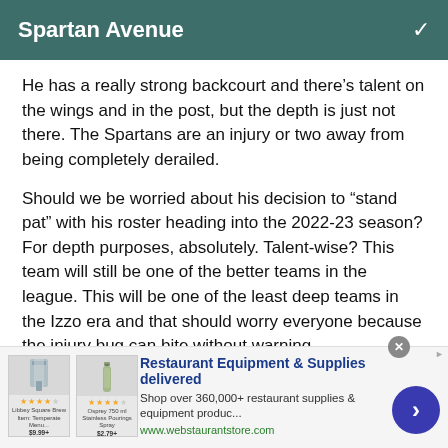Spartan Avenue
He has a really strong backcourt and there’s talent on the wings and in the post, but the depth is just not there. The Spartans are an injury or two away from being completely derailed.
Should we be worried about his decision to “stand pat” with his roster heading into the 2022-23 season? For depth purposes, absolutely. Talent-wise? This team will still be one of the better teams in the league. This will be one of the least deep teams in the Izzo era and that should worry everyone because the injury bug can bite without warning.
[Figure (screenshot): Advertisement banner for Restaurant Equipment & Supplies delivered from webstaurantstore.com, showing product images, star ratings, a blue arrow button, and a close (x) button.]